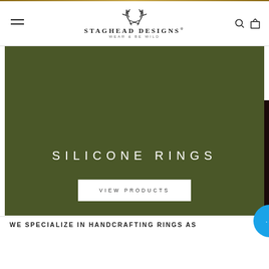Staghead Designs — WEAR & BE WILD
[Figure (screenshot): Hero banner with olive/dark green background showing 'SILICONE RINGS' text and 'VIEW PRODUCTS' call-to-action button. Side tab reads 'Our Customer Reviews'. Chat bubble in bottom right corner.]
WE SPECIALIZE IN HANDCRAFTING RINGS AS